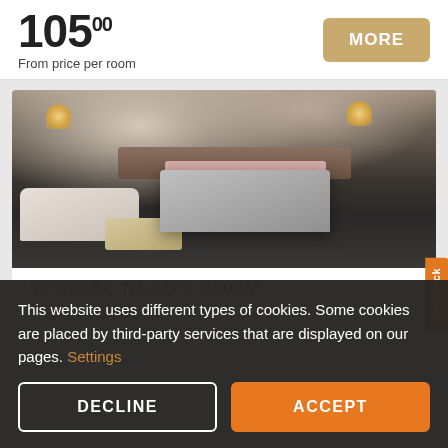105.00 From price per room
[Figure (photo): Hotel room photo showing a double bed with grey bedding and pink pillows, two white armchairs, a light wood coffee table, dark patterned carpet, and bedside lamps]
SPECIAL NEEDS ROOM
20 m² · 2 Persons
This website uses different types of cookies. Some cookies are placed by third-party services that are displayed on our pages. Settings
DECLINE
ACCEPT